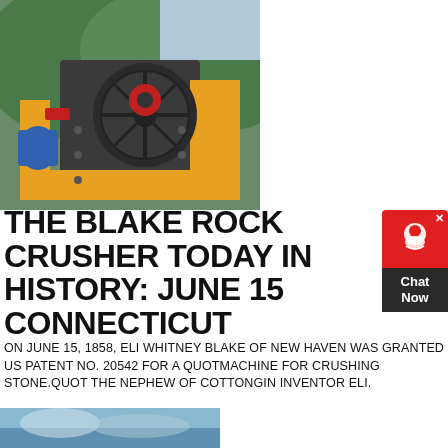[Figure (photo): Industrial jaw rock crusher machine in yellow and black with large flywheel, mounted outdoors with green mountain background]
THE BLAKE ROCK CRUSHER TODAY IN HISTORY: JUNE 15 CONNECTICUT
ON JUNE 15, 1858, ELI WHITNEY BLAKE OF NEW HAVEN WAS GRANTED US PATENT NO. 20542 FOR A QUOTMACHINE FOR CRUSHING STONE.QUOT THE NEPHEW OF COTTONGIN INVENTOR ELI.
GET PRICE
[Figure (photo): Partial photo of machinery or water, visible at bottom of page]